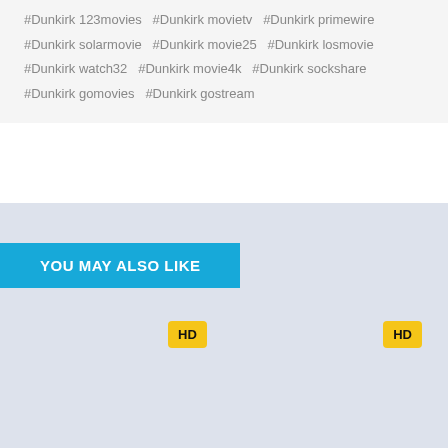#Dunkirk 123movies  #Dunkirk movietv  #Dunkirk primewire  #Dunkirk solarmovie  #Dunkirk movie25  #Dunkirk losmovie  #Dunkirk watch32  #Dunkirk movie4k  #Dunkirk sockshare  #Dunkirk gomovies  #Dunkirk gostream
YOU MAY ALSO LIKE
[Figure (other): Two movie thumbnail placeholders with HD badges, displayed in a light blue-gray recommendation section]